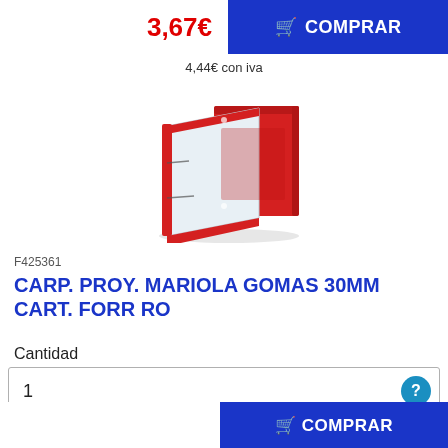3,67€
COMPRAR
4,44€ con iva
[Figure (photo): Red cardboard project folder/box with elastic closure, open showing interior, Mariola brand style]
F425361
CARP. PROY. MARIOLA GOMAS 30MM CART. FORR RO
Cantidad
1
COMPRAR